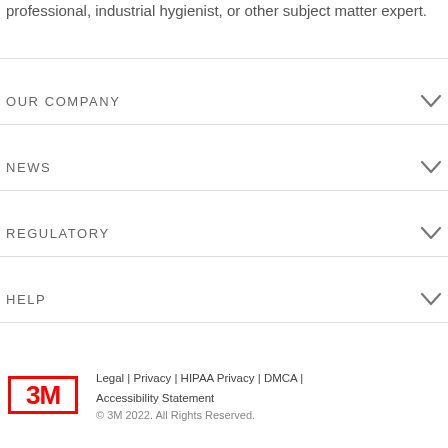professional, industrial hygienist, or other subject matter expert.
OUR COMPANY
NEWS
REGULATORY
HELP
Legal | Privacy | HIPAA Privacy | DMCA | Accessibility Statement
© 3M 2022. All Rights Reserved.